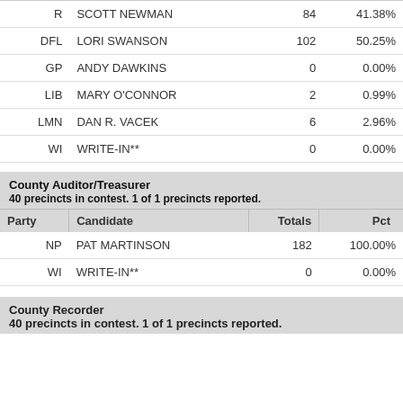| Party | Candidate | Totals | Pct |
| --- | --- | --- | --- |
| R | SCOTT NEWMAN | 84 | 41.38% |
| DFL | LORI SWANSON | 102 | 50.25% |
| GP | ANDY DAWKINS | 0 | 0.00% |
| LIB | MARY O'CONNOR | 2 | 0.99% |
| LMN | DAN R. VACEK | 6 | 2.96% |
| WI | WRITE-IN** | 0 | 0.00% |
County Auditor/Treasurer
40 precincts in contest. 1 of 1 precincts reported.
| Party | Candidate | Totals | Pct |
| --- | --- | --- | --- |
| NP | PAT MARTINSON | 182 | 100.00% |
| WI | WRITE-IN** | 0 | 0.00% |
County Recorder
40 precincts in contest. 1 of 1 precincts reported.